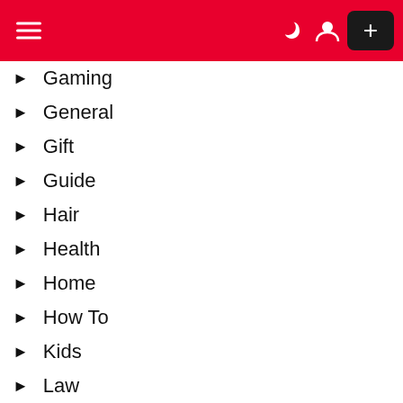Navigation header with hamburger menu, moon icon, user icon, and plus button
Gaming
General
Gift
Guide
Hair
Health
Home
How To
Kids
Law
Mobile
Motorcycle
Movies
Moving
Net Worth
NFL
Plants
Politics
Series
Sex
Sports